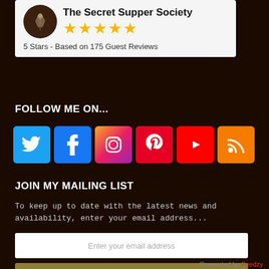[Figure (logo): The Secret Supper Society logo — artichoke on dark brown circular background, with title and 5 gold stars and review count]
5 Stars - Based on 175 Guest Reviews
FOLLOW ME ON...
[Figure (infographic): Six social media icons: Twitter (blue), Facebook (blue), Instagram (gradient), Pinterest (red), YouTube (red), RSS (orange)]
JOIN MY MAILING LIST
To keep up to date with the latest news and availability, enter your email address...
Enter your email address
SIGN UP
Generated by Feedzy